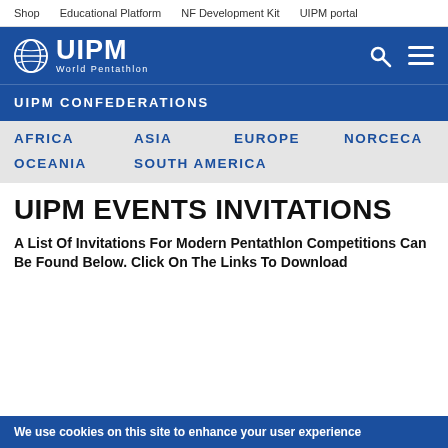Shop   Educational Platform   NF Development Kit   UIPM portal
[Figure (logo): UIPM World Pentathlon logo — globe icon with UIPM text and World Pentathlon subtitle]
UIPM CONFEDERATIONS
AFRICA
ASIA
EUROPE
NORCECA
OCEANIA
SOUTH AMERICA
UIPM EVENTS INVITATIONS
A List Of Invitations For Modern Pentathlon Competitions Can Be Found Below. Click On The Links To Download
We use cookies on this site to enhance your user experience